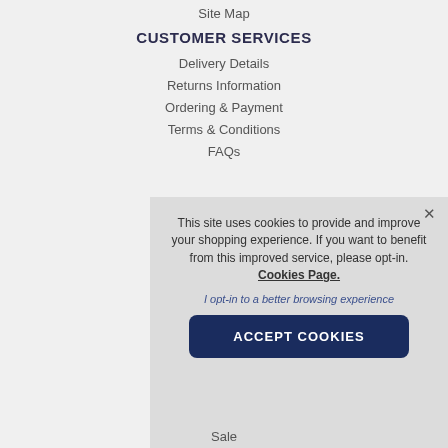Site Map
CUSTOMER SERVICES
Delivery Details
Returns Information
Ordering & Payment
Terms & Conditions
FAQs
This site uses cookies to provide and improve your shopping experience. If you want to benefit from this improved service, please opt-in. Cookies Page.
I opt-in to a better browsing experience
ACCEPT COOKIES
Sale